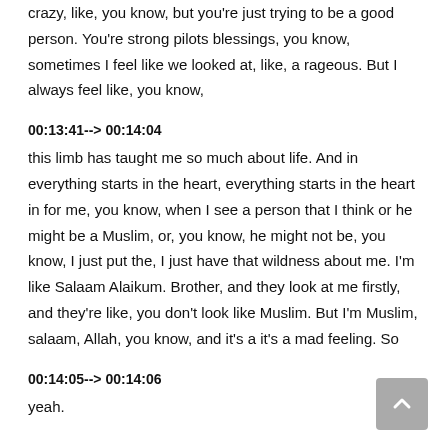crazy, like, you know, but you're just trying to be a good person. You're strong pilots blessings, you know, sometimes I feel like we looked at, like, a rageous. But I always feel like, you know,
00:13:41--> 00:14:04
this limb has taught me so much about life. And in everything starts in the heart, everything starts in the heart in for me, you know, when I see a person that I think or he might be a Muslim, or, you know, he might not be, you know, I just put the, I just have that wildness about me. I'm like Salaam Alaikum. Brother, and they look at me firstly, and they're like, you don't look like Muslim. But I'm Muslim, salaam, Allah, you know, and it's a it's a mad feeling. So
00:14:05--> 00:14:06
yeah.